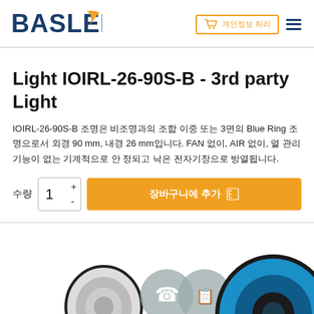[Figure (logo): Basler logo with dark blue text 'BASLER' and an orange swoosh/chevron mark]
[Figure (other): Shopping cart icon with Korean text inside an orange-bordered rectangle, and a hamburger menu icon]
Light IOIRL-26-90S-B - 3rd party Light
IOIRL-26-90S-B 조명은 비조명과의 조합 이중 또는 3면의 Blue Ring 조명으로서 외경 90 mm, 내경 26 mm입니다. FAN 없이, AIR 없이, 열 관리 기능이 없는 기계적으로 안 정되고 낮은 전자기장으로 방열됩니다.
수량  1  +  -  장바구니에 추가
[Figure (photo): Product image showing ring light components: a small circular lens element, two overlapping gray circular icons (phone and document), and a large blue ring light]